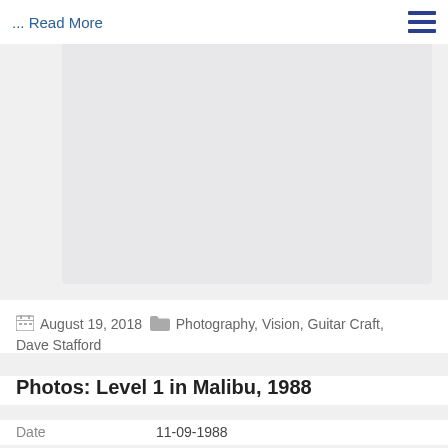... Read More
[Figure (photo): Large blank/white image placeholder card]
August 19, 2018   Photography, Vision, Guitar Craft, Dave Stafford
Photos: Level 1 in Malibu, 1988
Date   11-09-1988